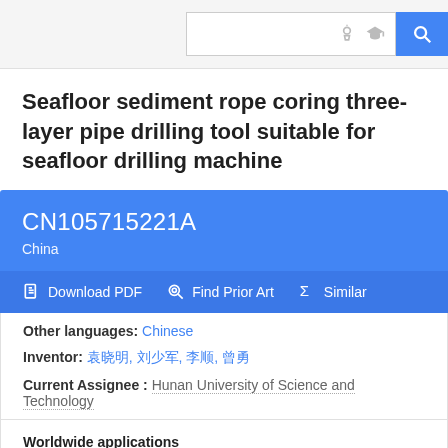Search bar with icons
Seafloor sediment rope coring three-layer pipe drilling tool suitable for seafloor drilling machine
CN105715221A
China
Download PDF | Find Prior Art | Similar
Other languages: Chinese
Inventor: 袁晓明, 刘少军, 李顺, 曾勇
Current Assignee: Hunan University of Science and Technology
Worldwide applications